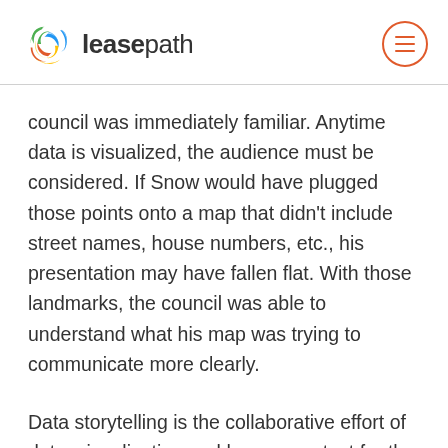leasepath
council was immediately familiar. Anytime data is visualized, the audience must be considered. If Snow would have plugged those points onto a map that didn't include street names, house numbers, etc., his presentation may have fallen flat. With those landmarks, the council was able to understand what his map was trying to communicate more clearly.
Data storytelling is the collaborative effort of data, visualization and human context for the purposes